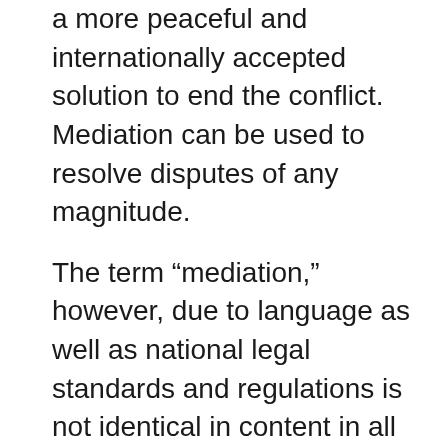a more peaceful and internationally accepted solution to end the conflict. Mediation can be used to resolve disputes of any magnitude.
The term “mediation,” however, due to language as well as national legal standards and regulations is not identical in content in all countries but rather has specific connotations, and there are some differences between Anglo-Saxon definitions and other countries, especially countries with a civil, statutory law tradition.
Mediators use various techniques to open, or improve, dialogue and empathy between disputants, aiming to help the parties reach an agreement. Much depends on the mediator’s skill and training. As the practice gained popularity, training programs, certifications, and